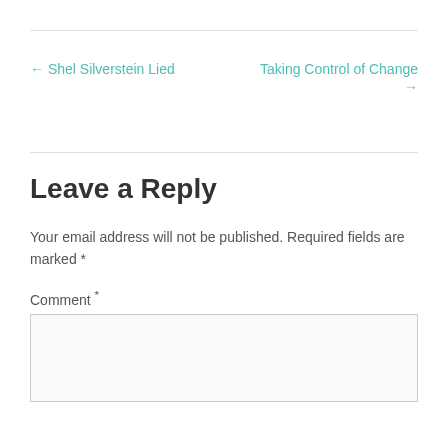← Shel Silverstein Lied
Taking Control of Change →
Leave a Reply
Your email address will not be published. Required fields are marked *
Comment *